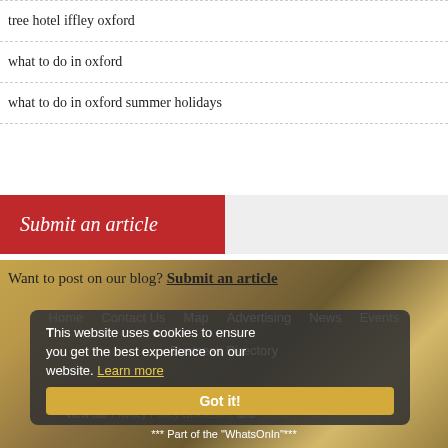tree hotel iffley oxford
what to do in oxford
what to do in oxford summer holidays
[Figure (screenshot): Red 'Submit an article' button on a light grey background bar]
Want to post on our blog? Submit an article
[Figure (photo): Background photo of Oxford cityscape/architecture in golden tones]
This website uses cookies to ensure you get the best experience on our website. Learn more
Got it!
Home  Contact Us  Map  Advertising  News  Events  Business Directory
Copyright © 2022 *** What's On In Oxford.net *** All Rights Reserved *** View our Privacy Policy Disclosure and Terms of Use and Disclaimer
*** Part of the "WhatsOnIn"***